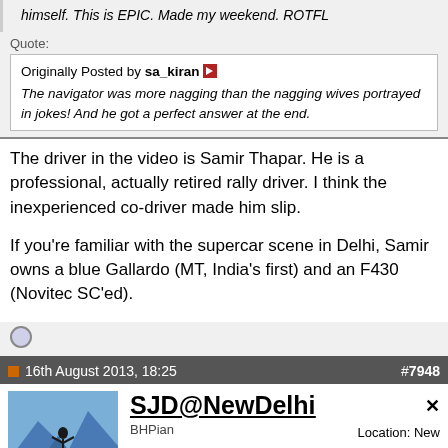himself. This is EPIC. Made my weekend. ROTFL
Quote:
Originally Posted by sa_kiran
The navigator was more nagging than the nagging wives portrayed in jokes! And he got a perfect answer at the end.
The driver in the video is Samir Thapar. He is a professional, actually retired rally driver. I think the inexperienced co-driver made him slip.

If you're familiar with the supercar scene in Delhi, Samir owns a blue Gallardo (MT, India's first) and an F430 (Novitec SC'ed).
16th August 2013, 18:25   #7948
SJD@NewDelhi
BHPian
Location: New Delhi
Posts: 180
Thanked: 213 Times
Read an employee's letter to the management on the death of his manager: